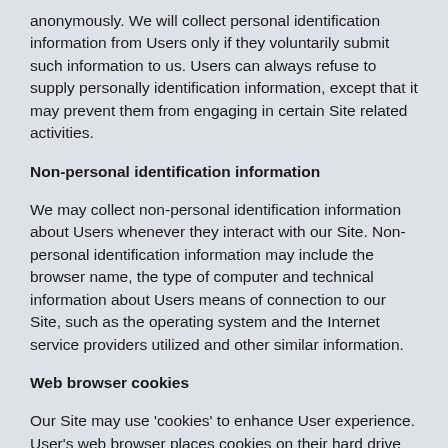anonymously. We will collect personal identification information from Users only if they voluntarily submit such information to us. Users can always refuse to supply personally identification information, except that it may prevent them from engaging in certain Site related activities.
Non-personal identification information
We may collect non-personal identification information about Users whenever they interact with our Site. Non-personal identification information may include the browser name, the type of computer and technical information about Users means of connection to our Site, such as the operating system and the Internet service providers utilized and other similar information.
Web browser cookies
Our Site may use 'cookies' to enhance User experience. User's web browser places cookies on their hard drive for